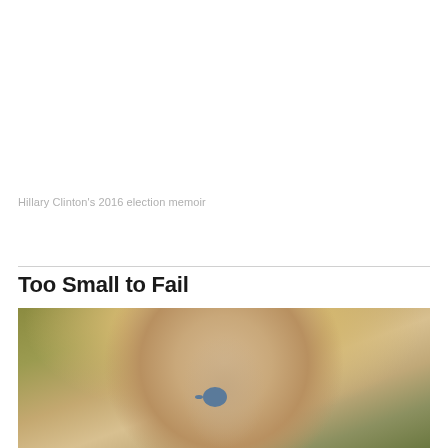Hillary Clinton's 2016 election memoir
Too Small to Fail
[Figure (photo): Close-up photograph of Hillary Clinton with blonde hair and blue eyes, neutral expression, blurred background with olive/green tones]